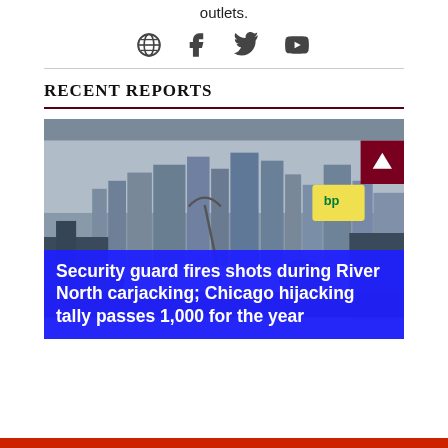outlets.
[Figure (infographic): Social media/web icons: globe, Facebook, Twitter, YouTube]
RECENT REPORTS
[Figure (photo): Street-level photo of Chicago skyline with buildings, a BP gas station sign, overcast sky, and blue overlay headline box reading: Security guard fires shots during River North carjacking; Chicago hijacking tally passes 1,000 for the year]
Security guard fires shots during River North carjacking; Chicago hijacking tally passes 1,000 for the year